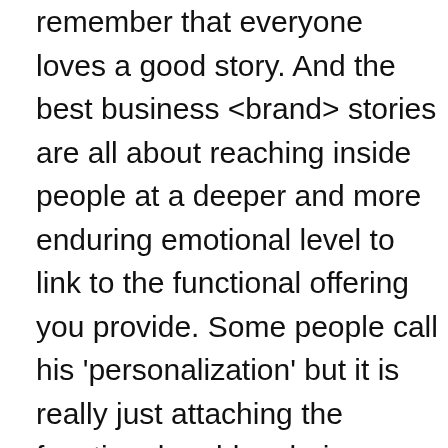remember that everyone loves a good story. And the best business <brand> stories are all about reaching inside people at a deeper and more enduring emotional level to link to the functional offering you provide. Some people call his 'personalization' but it is really just attaching the functional problem being solved with personal  'issues' … Maslow stuff …  self esteem <conformity versus individuality>, self doubt and economic well being. I would also note the best stories are simple incorporating elements of hero, conflict, and goal <note: